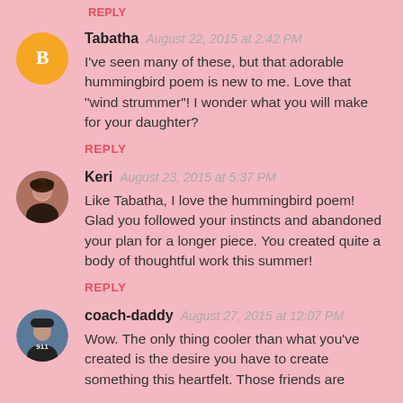REPLY
Tabatha  August 22, 2015 at 2:42 PM
I've seen many of these, but that adorable hummingbird poem is new to me. Love that "wind strummer"! I wonder what you will make for your daughter?
REPLY
Keri  August 23, 2015 at 5:37 PM
Like Tabatha, I love the hummingbird poem! Glad you followed your instincts and abandoned your plan for a longer piece. You created quite a body of thoughtful work this summer!
REPLY
coach-daddy  August 27, 2015 at 12:07 PM
Wow. The only thing cooler than what you've created is the desire you have to create something this heartfelt. Those friends are